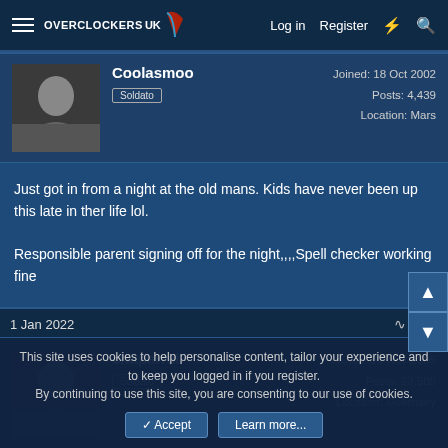Overclockers UK — Log in  Register
Cooloasmoo
Soldato
Joined: 18 Oct 2002
Posts: 4,439
Location: Mars
Just got in from a night at the old mans. Kids have never been up this late in ther life lol.

Responsible parent signing off for the night,,,,Spell checker working fine
1 Jan 2022  #73
chaparral
Soldato
Joined: 27 Nov 2005
Posts: 23,509
Location: Guernsey
This site uses cookies to help personalise content, tailor your experience and to keep you logged in if you register.
By continuing to use this site, you are consenting to our use of cookies.